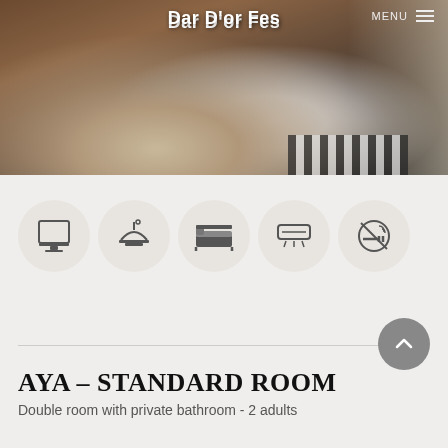Dar D'or Fes
[Figure (photo): Hotel room photo showing a double bed with white and dark gray bedding, dark decorative pillows, brick-style wall, wooden windows with natural light, and a black-and-white checkered floor. Navigation bar with 'Dar D'or Fes' centered in white bold text and 'MENU' with hamburger icon top right.]
[Figure (infographic): Five circular icon badges showing hotel amenities: TV/monitor icon, room service/concierge icon, bed/sleep icon, air conditioning icon, and no-smoking icon.]
AYA – STANDARD ROOM
Double room with private bathroom - 2 adults